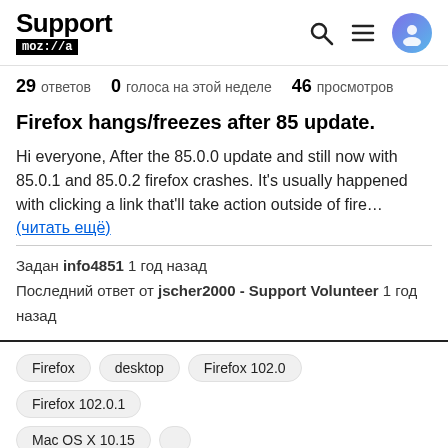Support mozilla
29 ответов  0  голоса на этой неделе  46  просмотров
Firefox hangs/freezes after 85 update.
Hi everyone, After the 85.0.0 update and still now with 85.0.1 and 85.0.2 firefox crashes. It's usually happened with clicking a link that'll take action outside of fire… (читать ещё)
Задан info4851 1 год назад
Последний ответ от jscher2000 - Support Volunteer 1 год назад
Firefox  desktop  Firefox 102.0  Firefox 102.1  Mac OS X 10.15  ...